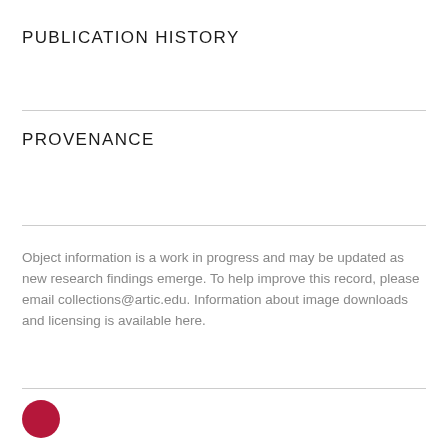PUBLICATION HISTORY
PROVENANCE
Object information is a work in progress and may be updated as new research findings emerge. To help improve this record, please email collections@artic.edu. Information about image downloads and licensing is available here.
[Figure (illustration): A dark red/crimson filled circle]